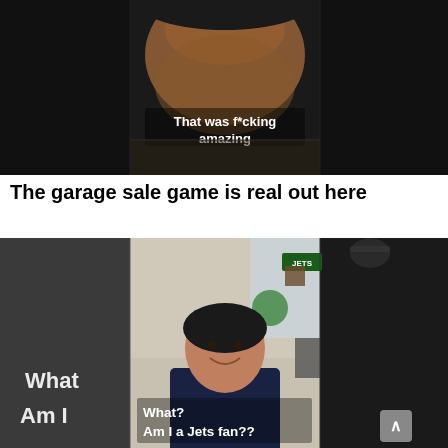[Figure (screenshot): Video screenshot showing a person's face close up with subtitle text 'That was f*cking amazing' in white text centered on the image. Dark background.]
The garage sale game is real out here
[Figure (screenshot): Video screenshot of a man in a dark navy sweater sitting in a room with Jets memorabilia visible. Subtitle text reads 'What? Am I a Jets fan??' on the right panel, and 'What? Am I' partially visible on the left panel.]